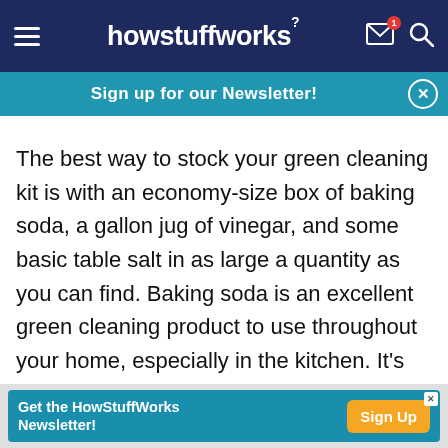howstuffworks
Sign up for our Newsletter!
The best way to stock your green cleaning kit is with an economy-size box of baking soda, a gallon jug of vinegar, and some basic table salt in as large a quantity as you can find. Baking soda is an excellent green cleaning product to use throughout your home, especially in the kitchen. It's also food-safe and has no odor. Baking soda is mildly abrasive, yet it can't harm your surfaces, whether they're linoleum or expensive imported Italian marble.
Get the HowStuffWorks Newsletter! Sign Up